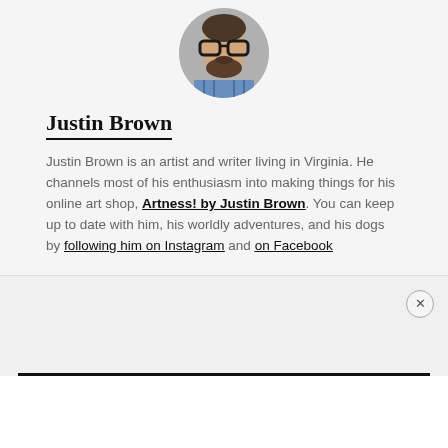[Figure (photo): Circular profile photo of Justin Brown, a man with glasses and a beard wearing a plaid shirt, against a gray background.]
Justin Brown
Justin Brown is an artist and writer living in Virginia. He channels most of his enthusiasm into making things for his online art shop, Artness! by Justin Brown. You can keep up to date with him, his worldly adventures, and his dogs by following him on Instagram and on Facebook